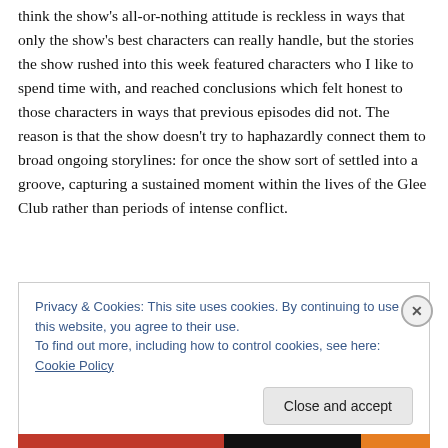think the show's all-or-nothing attitude is reckless in ways that only the show's best characters can really handle, but the stories the show rushed into this week featured characters who I like to spend time with, and reached conclusions which felt honest to those characters in ways that previous episodes did not. The reason is that the show doesn't try to haphazardly connect them to broad ongoing storylines: for once the show sort of settled into a groove, capturing a sustained moment within the lives of the Glee Club rather than periods of intense conflict.
Privacy & Cookies: This site uses cookies. By continuing to use this website, you agree to their use.
To find out more, including how to control cookies, see here: Cookie Policy
Close and accept